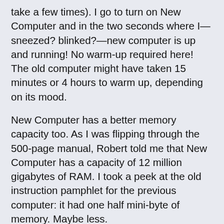take a few times). I go to turn on New Computer and in the two seconds where I—sneezed? blinked?—new computer is up and running! No warm-up required here! The old computer might have taken 15 minutes or 4 hours to warm up, depending on its mood.
New Computer has a better memory capacity too. As I was flipping through the 500-page manual, Robert told me that New Computer has a capacity of 12 million gigabytes of RAM. I took a peek at the old instruction pamphlet for the previous computer: it had one half mini-byte of memory. Maybe less.
Also, Robert explained to me that although I had been referring to the old computer (hereafter to be called: That Piece Of Crap, or TPOC for short) as suffering from Alzheimer's, computers are not technically able to become afflicted with this disease. (Did I mention that Robert is super-smart?) No. It's not that TPOC was forgetting things, it's just that TPOC had no more memory left for new important information (information like, that blog posting I just spent an hour on, or Tall's school report on Martin Luther King complete with footnotes, or all of our financial